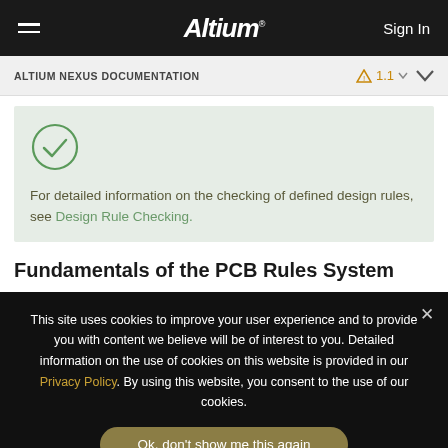Altium — Sign In
ALTIUM NEXUS DOCUMENTATION — 1.1
For detailed information on the checking of defined design rules, see Design Rule Checking.
Fundamentals of the PCB Rules System
This site uses cookies to improve your user experience and to provide you with content we believe will be of interest to you. Detailed information on the use of cookies on this website is provided in our Privacy Policy. By using this website, you consent to the use of our cookies.
Ok, don't show me this again